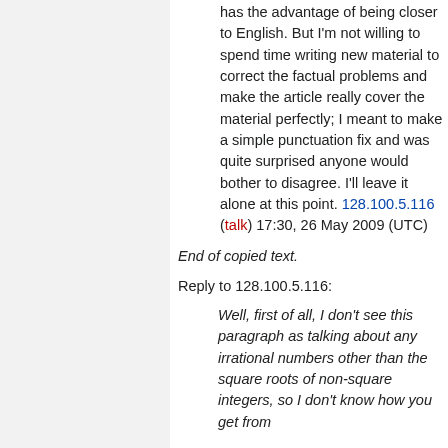has the advantage of being closer to English. But I'm not willing to spend time writing new material to correct the factual problems and make the article really cover the material perfectly; I meant to make a simple punctuation fix and was quite surprised anyone would bother to disagree. I'll leave it alone at this point. 128.100.5.116 (talk) 17:30, 26 May 2009 (UTC)
End of copied text.
Reply to 128.100.5.116:
Well, first of all, I don't see this paragraph as talking about any irrational numbers other than the square roots of non-square integers, so I don't know how you get from